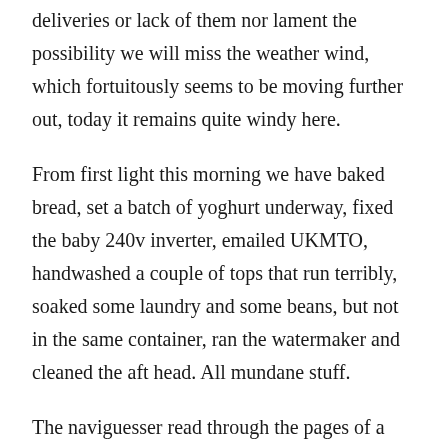deliveries or lack of them nor lament the possibility we will miss the weather wind, which fortuitously seems to be moving further out, today it remains quite windy here.
From first light this morning we have baked bread, set a batch of yoghurt underway, fixed the baby 240v inverter, emailed UKMTO, handwashed a couple of tops that run terribly, soaked some laundry and some beans, but not in the same container, ran the watermaker and cleaned the aft head. All mundane stuff.
The naviguesser read through the pages of a pilot guide for the leg ahead and worked out a few safe anchorages should the weather turn horrid. The skipper than